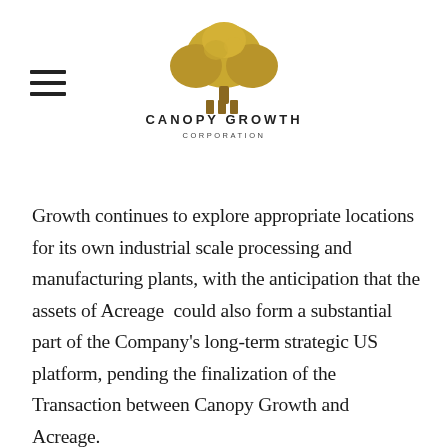[Figure (logo): Canopy Growth Corporation logo — a stylized golden tree above two columns, with 'CANOPY GROWTH' text and 'CORPORATION' in smaller text below]
Growth continues to explore appropriate locations for its own industrial scale processing and manufacturing plants, with the anticipation that the assets of Acreage  could also form a substantial part of the Company's long-term strategic US platform, pending the finalization of the Transaction between Canopy Growth and Acreage.
Finally, through the work of its research subsidiary ebbu, based in Denver, Colorado, as well as its growing clinical team, the Company is squarely focused on bringing a new and unparalleled level of product quality, regulatory oversight, reliability and scientific rigour to the US CBD market.